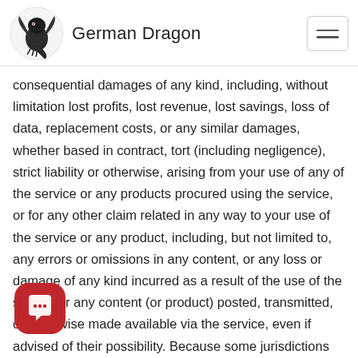German Dragon
consequential damages of any kind, including, without limitation lost profits, lost revenue, lost savings, loss of data, replacement costs, or any similar damages, whether based in contract, tort (including negligence), strict liability or otherwise, arising from your use of any of the service or any products procured using the service, or for any other claim related in any way to your use of the service or any product, including, but not limited to, any errors or omissions in any content, or any loss or damage of any kind incurred as a result of the use of the service or any content (or product) posted, transmitted, or otherwise made available via the service, even if advised of their possibility. Because some jurisdictions do not allow the exclusion or the limitation of liability for consequential or incidental damages, in such states or jurisdictions, our liability shall be limited to